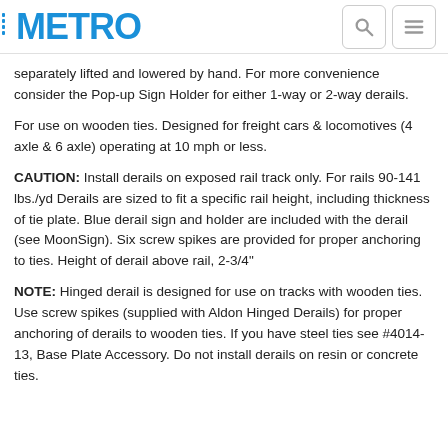METRO
separately lifted and lowered by hand. For more convenience consider the Pop-up Sign Holder for either 1-way or 2-way derails.
For use on wooden ties. Designed for freight cars & locomotives (4 axle & 6 axle) operating at 10 mph or less.
CAUTION: Install derails on exposed rail track only. For rails 90-141 lbs./yd Derails are sized to fit a specific rail height, including thickness of tie plate. Blue derail sign and holder are included with the derail (see MoonSign). Six screw spikes are provided for proper anchoring to ties. Height of derail above rail, 2-3/4"
NOTE: Hinged derail is designed for use on tracks with wooden ties. Use screw spikes (supplied with Aldon Hinged Derails) for proper anchoring of derails to wooden ties. If you have steel ties see #4014-13, Base Plate Accessory. Do not install derails on resin or concrete ties.